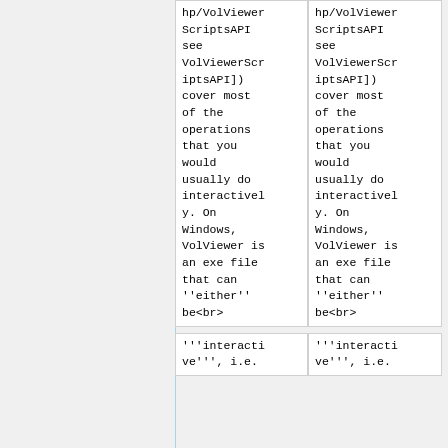hp/VolViewerScriptsAPI see VolViewerScriptsAPI]) cover most of the operations that you would usually do interactively. On Windows, VolViewer is an exe file that can ''either'' be<br>
hp/VolViewerScriptsAPI see VolViewerScriptsAPI]) cover most of the operations that you would usually do interactively. On Windows, VolViewer is an exe file that can ''either'' be<br>
'''interactive''', i.e.
'''interactive''', i.e.